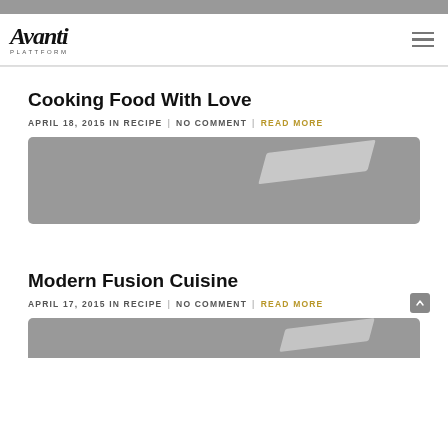Avanti Platform — navigation bar with logo and hamburger menu
Cooking Food With Love
APRIL 18, 2015 IN RECIPE | NO COMMENT | READ MORE
[Figure (photo): Grey placeholder image with a light reflection/shine diagonal element]
Modern Fusion Cuisine
APRIL 17, 2015 IN RECIPE | NO COMMENT | READ MORE
[Figure (photo): Grey placeholder image partially visible at bottom of page]